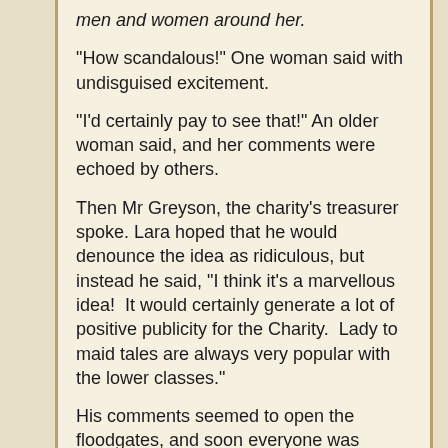men and women around her.
“How scandalous!” One woman said with undisguised excitement.
“I’d certainly pay to see that!” An older woman said, and her comments were echoed by others.
Then Mr Greyson, the charity’s treasurer spoke. Lara hoped that he would denounce the idea as ridiculous, but instead he said, “I think it’s a marvellous idea!  It would certainly generate a lot of positive publicity for the Charity.  Lady to maid tales are always very popular with the lower classes.”
His comments seemed to open the floodgates, and soon everyone was praising the idea.
“But how can Lara be a Countess and a maid at the same time?” One of the ladies asked.
Sarah had arranged for that question to be asked ahead of time, and she answered it instantly.
“That’s a good point.  I think for it to be an